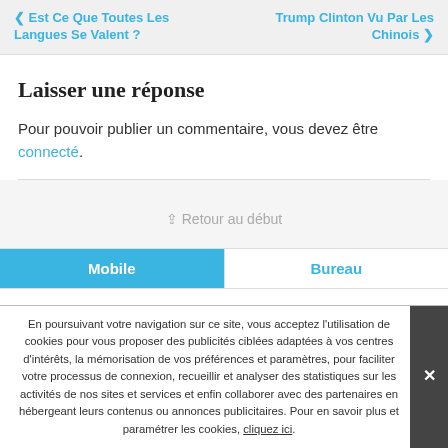❮ Est Ce Que Toutes Les Langues Se Valent ?  |  Trump Clinton Vu Par Les Chinois ❯
Laisser une réponse
Pour pouvoir publier un commentaire, vous devez être connecté.
⇪ Retour au début
Mobile  Bureau
En poursuivant votre navigation sur ce site, vous acceptez l'utilisation de cookies pour vous proposer des publicités ciblées adaptées à vos centres d'intérêts, la mémorisation de vos préférences et paramètres, pour faciliter votre processus de connexion, recueillir et analyser des statistiques sur les activités de nos sites et services et enfin collaborer avec des partenaires en hébergeant leurs contenus ou annonces publicitaires. Pour en savoir plus et paramétrer les cookies, cliquez ici.